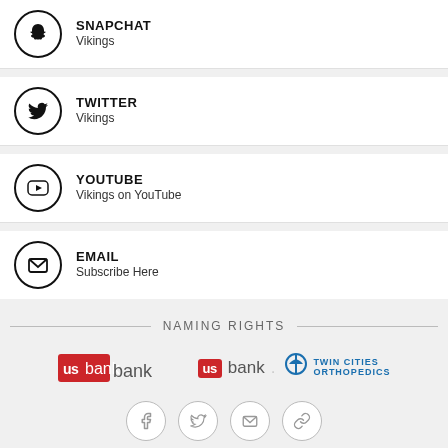SNAPCHAT — Vikings
TWITTER — Vikings
YOUTUBE — Vikings on YouTube
EMAIL — Subscribe Here
NAMING RIGHTS
[Figure (logo): US Bank and Twin Cities Orthopedics logos side by side]
[Figure (infographic): Four social media / contact icon circles: Facebook, Twitter, Email, Link]